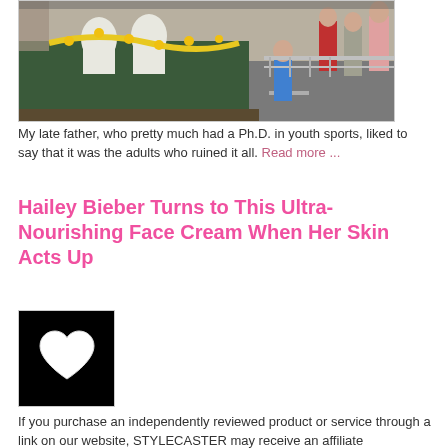[Figure (photo): Parade float with green sides decorated with yellow garland flowers, people in white clothing on the float, crowd watching from the right side, street scene]
My late father, who pretty much had a Ph.D. in youth sports, liked to say that it was the adults who ruined it all. Read more ...
Hailey Bieber Turns to This Ultra-Nourishing Face Cream When Her Skin Acts Up
[Figure (photo): Black square thumbnail image with a white heart shape in the center]
If you purchase an independently reviewed product or service through a link on our website, STYLECASTER may receive an affiliate commission. Whenever I see Hailey Bieber's... Read more